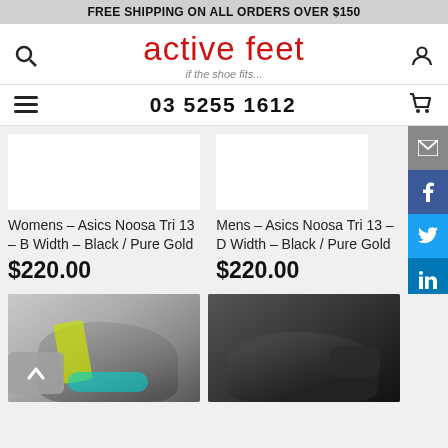FREE SHIPPING ON ALL ORDERS OVER $150
[Figure (logo): Active Feet logo with tagline 'if the shoe fits...']
03 5255 1612
[Figure (photo): Product image placeholder for Womens Asics Noosa Tri 13]
Womens – Asics Noosa Tri 13 – B Width – Black / Pure Gold
$220.00
[Figure (photo): Product image placeholder for Mens Asics Noosa Tri 13]
Mens – Asics Noosa Tri 13 – D Width – Black / Pure Gold
$220.00
[Figure (photo): Grey running shoe (Hoka brand) partial view]
[Figure (photo): Black running shoe partial view]